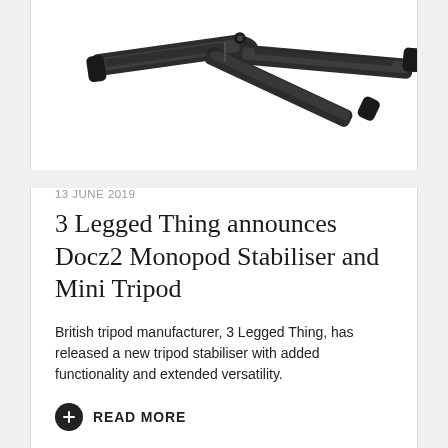[Figure (photo): Photo of a 3 Legged Thing Docz2 Monopod Stabiliser and Mini Tripod — a dark grey camera tripod/stabiliser accessory viewed from above at an angle]
13 JUNE 2019
3 Legged Thing announces Docz2 Monopod Stabiliser and Mini Tripod
British tripod manufacturer, 3 Legged Thing, has released a new tripod stabiliser with added functionality and extended versatility.
READ MORE
« 1 … 38 39 40 41 42 43 »